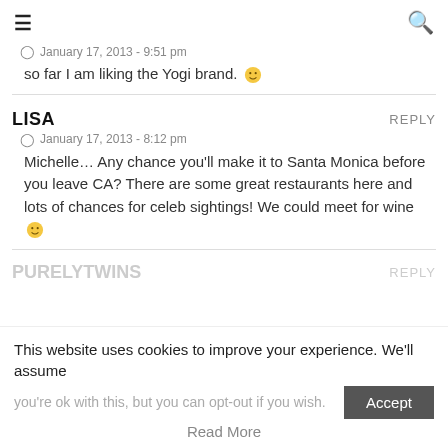≡  🔍
January 17, 2013 - 9:51 pm
so far I am liking the Yogi brand. 🙂
LISA  REPLY
January 17, 2013 - 8:12 pm
Michelle… Any chance you'll make it to Santa Monica before you leave CA? There are some great restaurants here and lots of chances for celeb sightings! We could meet for wine 🙂
PURELYTWINS  REPLY
This website uses cookies to improve your experience. We'll assume you're ok with this, but you can opt-out if you wish.
Read More